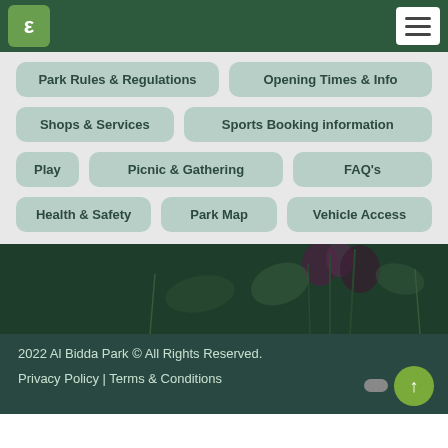ε  ≡
Park Rules & Regulations
Opening Times & Info
Shops & Services
Sports Booking information
Play
Picnic & Gathering
FAQ's
Health & Safety
Park Map
Vehicle Access
[Figure (photo): Silhouette of plants/flowers against a dark green background]
2022 Al Bidda Park © All Rights Reserved.

Privacy Policy | Terms & Conditions